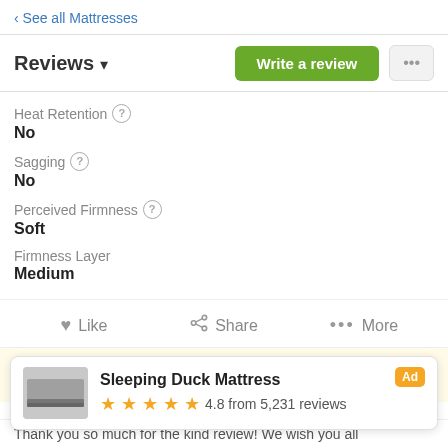‹ See all Mattresses
Reviews ▾
Heat Retention ?
No
Sagging ?
No
Perceived Firmness ?
Soft
Firmness Layer
Medium
Like  Share  More
Ecosa ECOSA Send a private message
Sleeping Duck Mattress  Ad  ★★★★★ 4.8 from 5,231 reviews
Thank you so much for the kind review! We wish you all